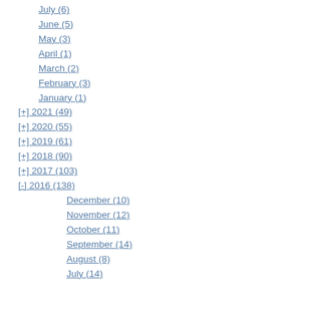July (6)
June (5)
May (3)
April (1)
March (2)
February (3)
January (1)
[+] 2021 (49)
[+] 2020 (55)
[+] 2019 (61)
[+] 2018 (90)
[+] 2017 (103)
[-] 2016 (138)
December (10)
November (12)
October (11)
September (14)
August (8)
July (14)